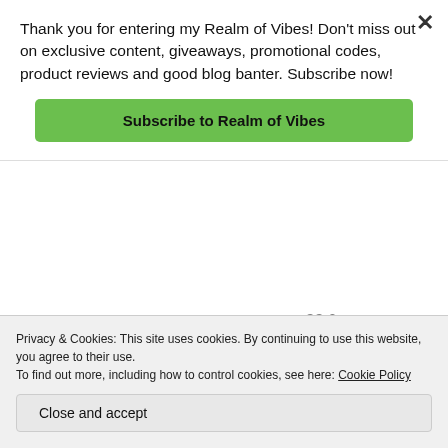Thank you for entering my Realm of Vibes! Don't miss out on exclusive content, giveaways, promotional codes, product reviews and good blog banter. Subscribe now!
Subscribe to Realm of Vibes
×
Advertisements
[Figure (screenshot): Tumblr Ad-Free Browsing banner ad. Blue gradient background with Tumblr logo. Text: TUMBLR AD-FREE BROWSING. Price: $39.99 a year or $4.99 a month. REPORT THIS AD link at bottom right.]
How to get into it: Start in high plank, roll forward onto
Privacy & Cookies: This site uses cookies. By continuing to use this website, you agree to their use.
To find out more, including how to control cookies, see here: Cookie Policy
Close and accept